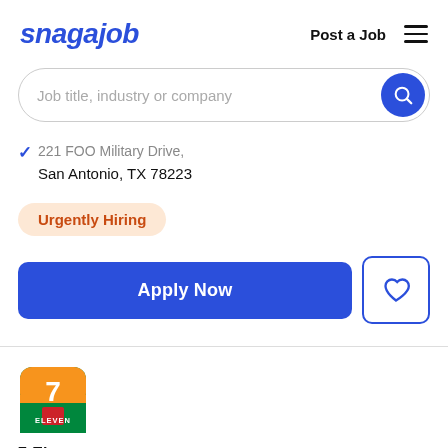snagajob | Post a Job ☰
Job title, industry or company
221 FOO Military Drive, San Antonio, TX 78223
Urgently Hiring
Apply Now
[Figure (logo): 7-Eleven company logo: green rounded square with orange 7 and red square, text ELEVEN]
7-Eleven